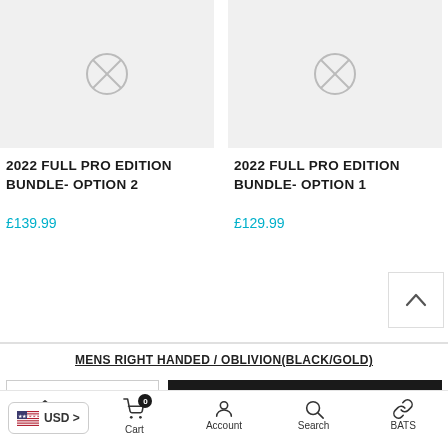[Figure (other): Product thumbnail placeholder image - grey background with image icon]
2022 FULL PRO EDITION BUNDLE- OPTION 2
£139.99
[Figure (other): Product thumbnail placeholder image - grey background with image icon]
2022 FULL PRO EDITION BUNDLE- OPTION 1
£129.99
MENS RIGHT HANDED / OBLIVION(BLACK/GOLD)
ADD TO CART
Home  Cart  Account  Search  BATS